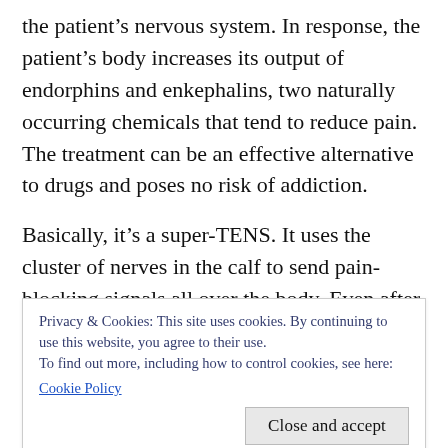the patient's nervous system. In response, the patient's body increases its output of endorphins and enkephalins, two naturally occurring chemicals that tend to reduce pain. The treatment can be an effective alternative to drugs and poses no risk of addiction.
Basically, it's a super-TENS. It uses the cluster of nerves in the calf to send pain-blocking signals all over the body. Even after a session ends, the effect is supposed to continue for up to 40 minutes. It is to be used as a complement to a patient's normal medication regimen, boosting up those effects and filling the gap that is not
Privacy & Cookies: This site uses cookies. By continuing to use this website, you agree to their use.
To find out more, including how to control cookies, see here:
Cookie Policy
Close and accept
TENS devices don't always work for everyone.